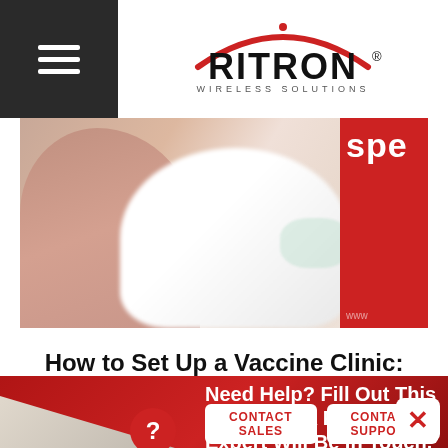[Figure (logo): Ritron Wireless Solutions logo with red arc above text and registered trademark symbol]
[Figure (photo): Blurred photo of a person in white shirt receiving a vaccine injection, partially cropped, with red overlay panel on right side showing 'spe' text]
How to Set Up a Vaccine Clinic: Radios on the Frontlines of Warp Speed
Need Help? Fill Out This Form And A Ritron Expert Will Be In Touch.
CONTACT SALES
CONTACT SUPPORT